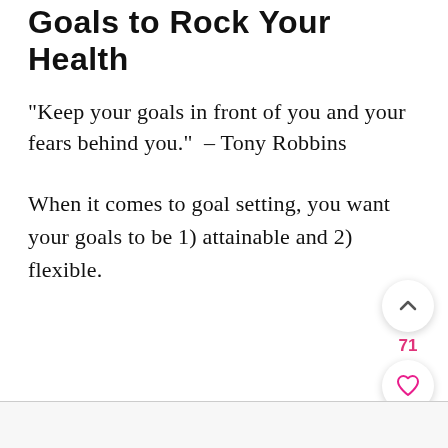Goals to Rock Your Health
“Keep your goals in front of you and your fears behind you.” – Tony Robbins
When it comes to goal setting, you want your goals to be 1) attainable and 2) flexible.
[Figure (infographic): UI overlay buttons: up-arrow button (white circle), count 71 in pink, heart button (white circle), search/magnifying glass button (pink circle)]